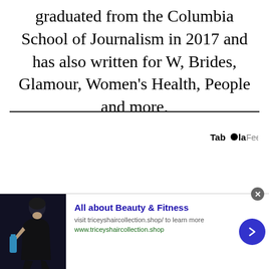graduated from the Columbia School of Journalism in 2017 and has also written for W, Brides, Glamour, Women's Health, People and more.
[Figure (other): Taboola Feed logo/label in top right area]
[Figure (infographic): Advertisement banner at the bottom featuring a person holding a water bottle in workout clothes, promoting 'All about Beauty & Fitness' from www.triceyshaircollection.shop with a blue arrow button and close button]